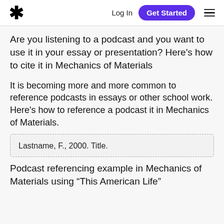* Log In Get Started ☰
Are you listening to a podcast and you want to use it in your essay or presentation? Here's how to cite it in Mechanics of Materials
It is becoming more and more common to reference podcasts in essays or other school work.
Here's how to reference a podcast it in Mechanics of Materials.
Lastname, F., 2000. Title.
Podcast referencing example in Mechanics of Materials using "This American Life"